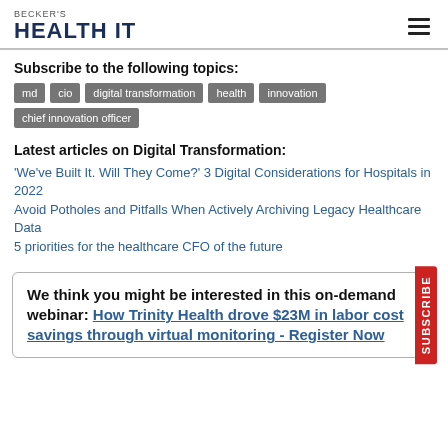BECKER'S HEALTH IT
Subscribe to the following topics:
md
cio
digital transformation
health
innovation
chief innovation officer
Latest articles on Digital Transformation:
'We've Built It. Will They Come?' 3 Digital Considerations for Hospitals in 2022
Avoid Potholes and Pitfalls When Actively Archiving Legacy Healthcare Data
5 priorities for the healthcare CFO of the future
We think you might be interested in this on-demand webinar: How Trinity Health drove $23M in labor cost savings through virtual monitoring - Register Now